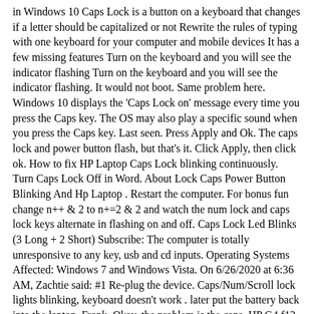in Windows 10 Caps Lock is a button on a keyboard that changes if a letter should be capitalized or not Rewrite the rules of typing with one keyboard for your computer and mobile devices It has a few missing features Turn on the keyboard and you will see the indicator flashing Turn on the keyboard and you will see the indicator flashing. It would not boot. Same problem here. Windows 10 displays the 'Caps Lock on' message every time you press the Caps key. The OS may also play a specific sound when you press the Caps key. Last seen. Press Apply and Ok. The caps lock and power button flash, but that's it. Click Apply, then click ok. How to fix HP Laptop Caps Lock blinking continuously. Turn Caps Lock Off in Word. About Lock Caps Power Button Blinking And Hp Laptop . Restart the computer. For bonus fun change n++ & 2 to n+=2 & 2 and watch the num lock and caps lock keys alternate in flashing on and off. Caps Lock Led Blinks (3 Long + 2 Short) Subscribe: The computer is totally unresponsive to any key, usb and cd inputs. Operating Systems Affected: Windows 7 and Windows Vista. On 6/26/2020 at 6:36 AM, Zachtie said: #1 Re-plug the device. Caps/Num/Scroll lock lights blinking, keyboard doesn't work . later put the battery back into the laptop. Frank. Okay, the problem is the caps. HP G4 f12 blinking. Install Windows 10 in fresh guest configuration and screen flickering and general nutting out aside, with clean install of Windows 10 completed and VMware Tools installed directly afterward, get to login screen with the Caps Lock indicator flashing on an off